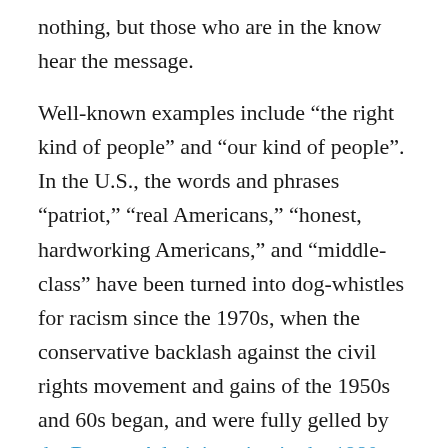nothing, but those who are in the know hear the message.

Well-known examples include “the right kind of people” and “our kind of people”. In the U.S., the words and phrases “patriot,” “real Americans,” “honest, hardworking Americans,” and “middle-class” have been turned into dog-whistles for racism since the 1970s, when the conservative backlash against the civil rights movement and gains of the 1950s and 60s began, and were fully gelled by the Reagan Administration in the 1980s. All of these have become code expressions for “white”, and it was a horribly effective mis-use of meritocracy: start with the false assumption that everyone had the same starting point and resources, and then when racism ensures that people who aren’t white